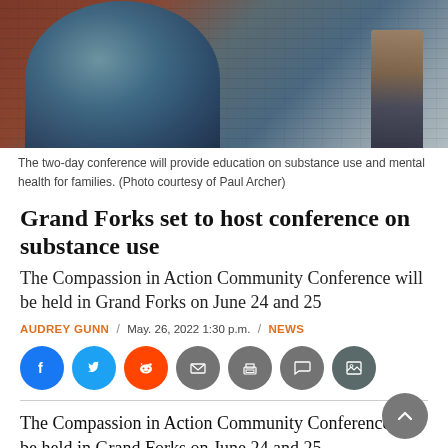[Figure (photo): Photo of a street mural showing a large globe painted on a brick wall, with a person standing to the right.]
The two-day conference will provide education on substance use and mental health for families. (Photo courtesy of Paul Archer)
Grand Forks set to host conference on substance use
The Compassion in Action Community Conference will be held in Grand Forks on June 24 and 25
AUDREY GUNN / May. 26, 2022 1:30 p.m. / NEWS
[Figure (infographic): Social sharing buttons: Facebook, Twitter, Reddit, Email, Print, Comment, Gallery]
The Compassion in Action Community Conference will be held in Grand Forks on June 24 and 25.